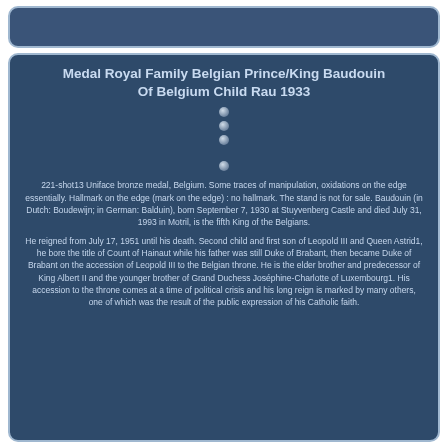Medal Royal Family Belgian Prince/King Baudouin Of Belgium Child Rau 1933
[Figure (other): Four decorative bullet dots arranged vertically with a gap between third and fourth]
221-shot13 Uniface bronze medal, Belgium. Some traces of manipulation, oxidations on the edge essentially. Hallmark on the edge (mark on the edge) : no hallmark. The stand is not for sale. Baudouin (in Dutch: Boudewijn; in German: Balduin), born September 7, 1930 at Stuyvenberg Castle and died July 31, 1993 in Motril, is the fifth King of the Belgians.
He reigned from July 17, 1951 until his death. Second child and first son of Leopold III and Queen Astrid1, he bore the title of Count of Hainaut while his father was still Duke of Brabant, then became Duke of Brabant on the accession of Leopold III to the Belgian throne. He is the elder brother and predecessor of King Albert II and the younger brother of Grand Duchess Joséphine-Charlotte of Luxembourg1. His accession to the throne comes at a time of political crisis and his long reign is marked by many others, one of which was the result of the public expression of his Catholic faith.